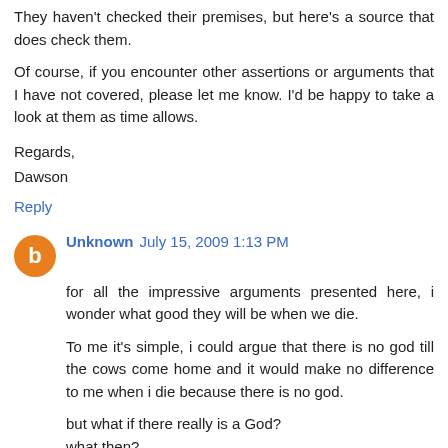They haven't checked their premises, but here's a source that does check them.
Of course, if you encounter other assertions or arguments that I have not covered, please let me know. I'd be happy to take a look at them as time allows.
Regards,
Dawson
Reply
Unknown July 15, 2009 1:13 PM
for all the impressive arguments presented here, i wonder what good they will be when we die.
To me it's simple, i could argue that there is no god till the cows come home and it would make no difference to me when i die because there is no god.
but what if there really is a God?
what then?